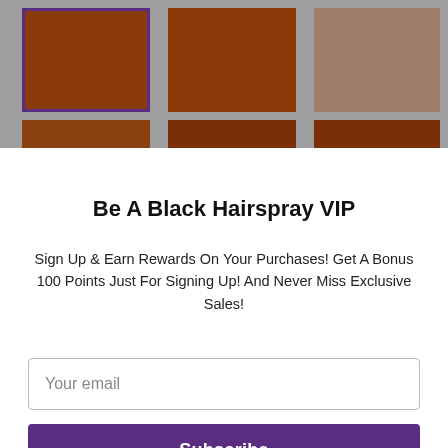[Figure (screenshot): Top portion showing a grid of brown/tan color swatches on a gray background. First swatch has a purple border indicating selection. Six swatches visible in two rows.]
Be A Black Hairspray VIP
Sign Up & Earn Rewards On Your Purchases! Get A Bonus 100 Points Just For Signing Up! And Never Miss Exclusive Sales!
Your email
Subscribe